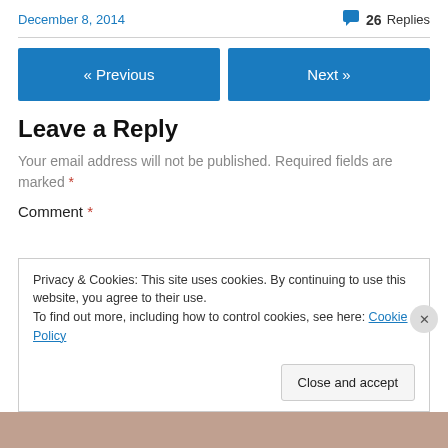December 8, 2014
26 Replies
« Previous
Next »
Leave a Reply
Your email address will not be published. Required fields are marked *
Comment *
Privacy & Cookies: This site uses cookies. By continuing to use this website, you agree to their use.
To find out more, including how to control cookies, see here: Cookie Policy
Close and accept